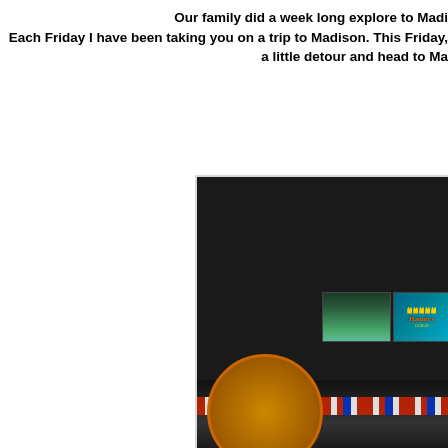Our family did a week long explore to Madi... Each Friday I have been taking you on a trip to Madison. This Friday, a little detour and head to Ma...
[Figure (photo): Dark interior brick wall with illuminated Hamm's Beer neon/backlit signs mounted on the wall. A fluorescent light bar is below the signs. At the bottom of the image is a decorative mural or arch with striped patriotic-colored border and a circular golden emblem.]